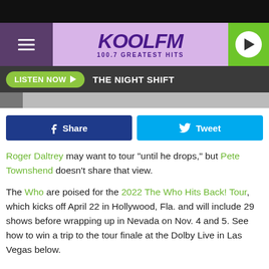[Figure (screenshot): KOOL FM 100.7 Greatest Hits radio station website header with purple/lavender background, hamburger menu on left, KOOL FM logo in center, green play button on right]
LISTEN NOW ▶  THE NIGHT SHIFT
[Figure (screenshot): Facebook Share button (dark blue) and Twitter Tweet button (cyan blue)]
Roger Daltrey may want to tour "until he drops," but Pete Townshend doesn't share that view.
The Who are poised for the 2022 The Who Hits Back! Tour, which kicks off April 22 in Hollywood, Fla. and will include 29 shows before wrapping up in Nevada on Nov. 4 and 5. See how to win a trip to the tour finale at the Dolby Live in Las Vegas below.